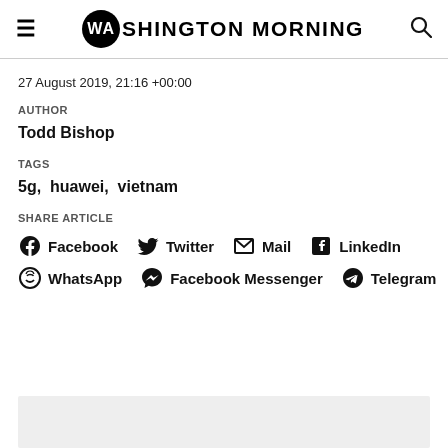Washington Morning
27 August 2019, 21:16 +00:00
AUTHOR
Todd Bishop
TAGS
5g,  huawei,  vietnam
SHARE ARTICLE
Facebook  Twitter  Mail  LinkedIn  WhatsApp  Facebook Messenger  Telegram